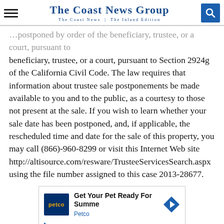The Coast News Group — The Coast News | The Inland Edition
beneficiary, trustee, or a court, pursuant to Section 2924g of the California Civil Code. The law requires that information about trustee sale postponements be made available to you and to the public, as a courtesy to those not present at the sale. If you wish to learn whether your sale date has been postponed, and, if applicable, the rescheduled time and date for the sale of this property, you may call (866)-960-8299 or visit this Internet Web site http://altisource.com/resware/TrusteeServicesSearch.aspx using the file number assigned to this case 2013-28677.
[Figure (infographic): Petco advertisement: 'Get Your Pet Ready For Summe' with Petco logo and directional arrow icon]